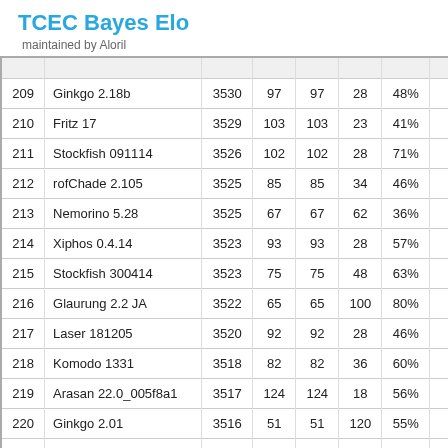TCEC Bayes Elo
maintained by Aloril
| # | Engine | Elo | elo+ | elo- | Games | Score | ... |
| --- | --- | --- | --- | --- | --- | --- | --- |
| 209 | Ginkgo 2.18b | 3530 | 97 | 97 | 28 | 48% |  |
| 210 | Fritz 17 | 3529 | 103 | 103 | 23 | 41% |  |
| 211 | Stockfish 091114 | 3526 | 102 | 102 | 28 | 71% |  |
| 212 | rofChade 2.105 | 3525 | 85 | 85 | 34 | 46% |  |
| 213 | Nemorino 5.28 | 3525 | 67 | 67 | 62 | 36% |  |
| 214 | Xiphos 0.4.14 | 3523 | 93 | 93 | 28 | 57% |  |
| 215 | Stockfish 300414 | 3523 | 75 | 75 | 48 | 63% |  |
| 216 | Glaurung 2.2 JA | 3522 | 65 | 65 | 100 | 80% |  |
| 217 | Laser 181205 | 3520 | 92 | 92 | 28 | 46% |  |
| 218 | Komodo 1331 | 3518 | 82 | 82 | 36 | 60% |  |
| 219 | Arasan 22.0_005f8a1 | 3517 | 124 | 124 | 18 | 56% |  |
| 220 | Ginkgo 2.01 | 3516 | 51 | 51 | 120 | 55% |  |
| 221 | ChessFighter 3.2 | 3516 | 111 | 111 | 23 | 30% |  |